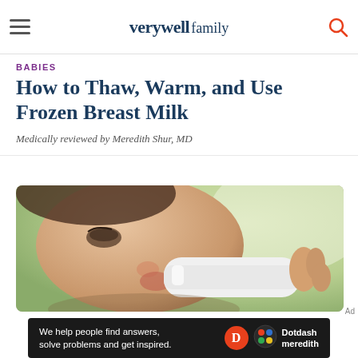verywell family
BABIES
How to Thaw, Warm, and Use Frozen Breast Milk
Medically reviewed by Meredith Shur, MD
[Figure (photo): Close-up of a baby drinking from a white bottle, with a blurred green background]
Ad
[Figure (infographic): Dotdash Meredith advertisement banner on dark background: We help people find answers, solve problems and get inspired.]